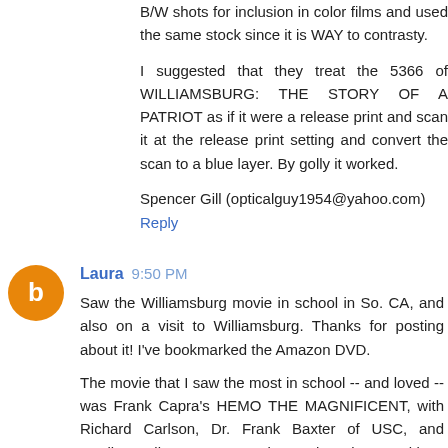B/W shots for inclusion in color films and used the same stock since it is WAY to contrasty.
I suggested that they treat the 5366 of WILLIAMSBURG: THE STORY OF A PATRIOT as if it were a release print and scan it at the release print setting and convert the scan to a blue layer. By golly it worked.
Spencer Gill (opticalguy1954@yahoo.com)
Reply
Laura 9:50 PM
Saw the Williamsburg movie in school in So. CA, and also on a visit to Williamsburg. Thanks for posting about it! I've bookmarked the Amazon DVD.
The movie that I saw the most in school -- and loved -- was Frank Capra's HEMO THE MAGNIFICENT, with Richard Carlson, Dr. Frank Baxter of USC, and Sterling Holloway. I've seen it countless times and love it still. There are other films in the Capra Bell Science series, but that again the